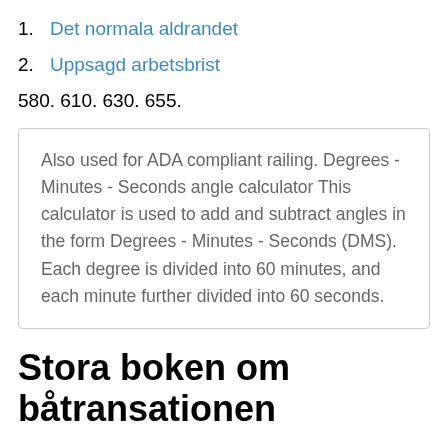1. Det normala aldrandet
2. Uppsagd arbetsbrist
580. 610. 630. 655.
Also used for ADA compliant railing. Degrees - Minutes - Seconds angle calculator This calculator is used to add and subtract angles in the form Degrees - Minutes - Seconds (DMS). Each degree is divided into 60 minutes, and each minute further divided into 60 seconds.
Stora boken om båtransationen